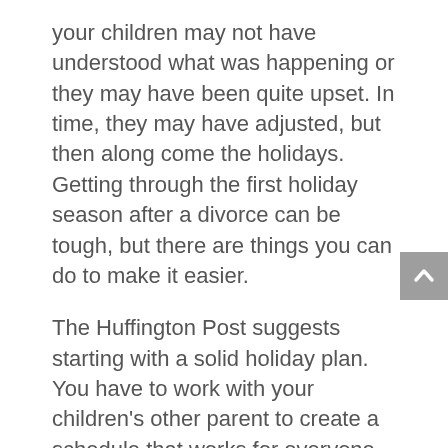your children may not have understood what was happening or they may have been quite upset. In time, they may have adjusted, but then along come the holidays. Getting through the first holiday season after a divorce can be tough, but there are things you can do to make it easier.
The Huffington Post suggests starting with a solid holiday plan. You have to work with your children's other parent to create a schedule that works for everyone. Coordinating each household and extended family plans can be hard, but working it out far ahead of time can ease stress and allow the kids to adjust to any changes in the normal routine.
Another suggestion is to focus on the kids. Keeping them first and foremost in your mind will enable you to pay attention to their needs above anything else. If for example, they need to rest...